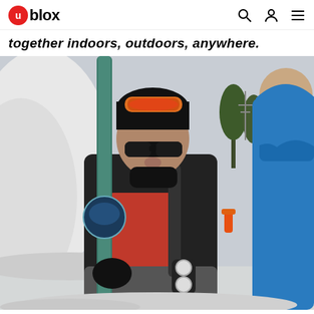u-blox
together indoors, outdoors, anywhere.
[Figure (photo): A skier wearing a black jacket with red accents, dark sunglasses, ski goggles on head, and carrying skis on a snowy mountain. The person is talking to another person in a blue jacket visible on the right edge of the frame. Snow banks and trees visible in the background.]